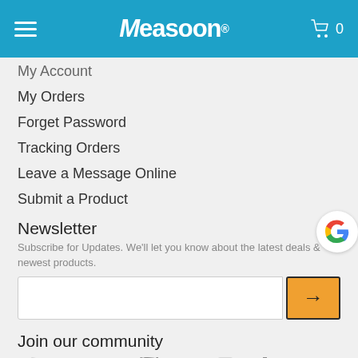Measoon®
My Account
My Orders
Forget Password
Tracking Orders
Leave a Message Online
Submit a Product
Newsletter
Subscribe for Updates. We'll let you know about the latest deals & newest products.
Join our community
[Figure (illustration): Social media icons: Facebook, Twitter, LinkedIn, Pinterest, YouTube, Instagram, TikTok]